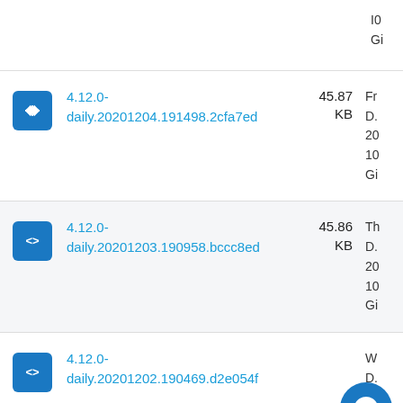Gi
4.12.0-daily.20201204.191498.2cfa7ed  45.87 KB  Fr D. 20 10 Gi
4.12.0-daily.20201203.190958.bccc8ed  45.86 KB  Th D. 20 10 Gi
4.12.0-daily.20201202.190469.d2e054f  W D. 20 10